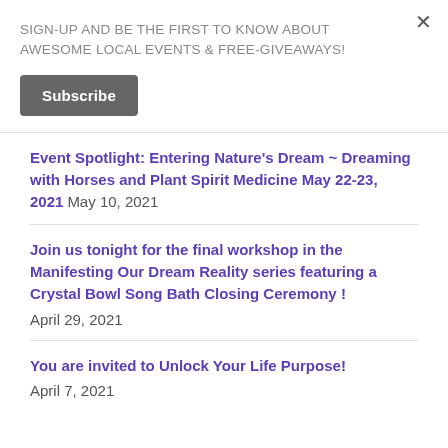SIGN-UP AND BE THE FIRST TO KNOW ABOUT AWESOME LOCAL EVENTS & FREE-GIVEAWAYS!
Subscribe
Event Spotlight: Entering Nature's Dream ~ Dreaming with Horses and Plant Spirit Medicine May 22-23, 2021 May 10, 2021
Join us tonight for the final workshop in the Manifesting Our Dream Reality series featuring a Crystal Bowl Song Bath Closing Ceremony ! April 29, 2021
You are invited to Unlock Your Life Purpose! April 7, 2021